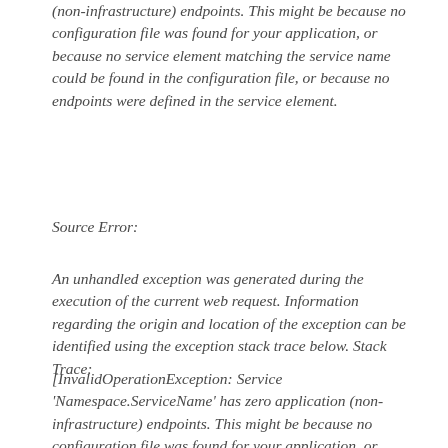(non-infrastructure) endpoints. This might be because no configuration file was found for your application, or because no service element matching the service name could be found in the configuration file, or because no endpoints were defined in the service element.
Source Error:
An unhandled exception was generated during the execution of the current web request. Information regarding the origin and location of the exception can be identified using the exception stack trace below. Stack Trace:
[InvalidOperationException: Service 'Namespace.ServiceName' has zero application (non-infrastructure) endpoints. This might be because no configuration file was found for your application, or because no service element matching the service name